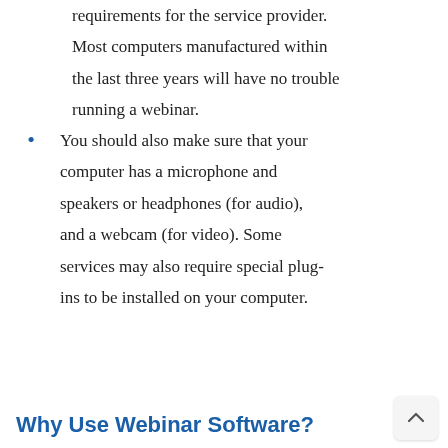requirements for the service provider. Most computers manufactured within the last three years will have no trouble running a webinar.
You should also make sure that your computer has a microphone and speakers or headphones (for audio), and a webcam (for video). Some services may also require special plug-ins to be installed on your computer.
Why Use Webinar Software?